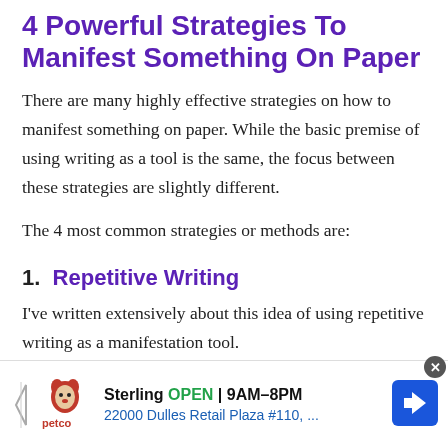4 Powerful Strategies To Manifest Something On Paper
There are many highly effective strategies on how to manifest something on paper. While the basic premise of using writing as a tool is the same, the focus between these strategies are slightly different.
The 4 most common strategies or methods are:
1.  Repetitive Writing
I've written extensively about this idea of using repetitive writing as a manifestation tool.
[Figure (other): Petco advertisement banner: Sterling OPEN 9AM-8PM, 22000 Dulles Retail Plaza #110,...]